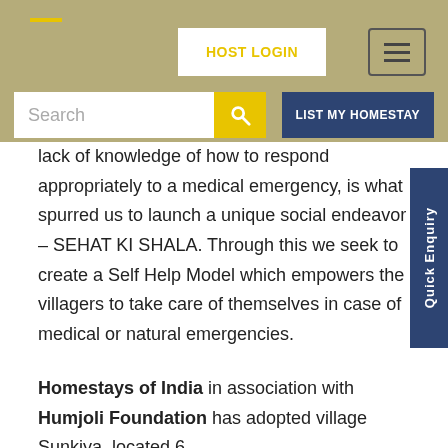[Figure (screenshot): Navigation bar with HOST LOGIN button, hamburger menu icon, search box with yellow search button, and LIST MY HOMESTAY dark blue button on a khaki/olive background]
lack of knowledge of how to respond appropriately to a medical emergency, is what spurred us to launch a unique social endeavor – SEHAT KI SHALA. Through this we seek to create a Self Help Model which empowers the villagers to take care of themselves in case of medical or natural emergencies.
Homestays of India in association with Humjoli Foundation has adopted village Sunkiya, located 6